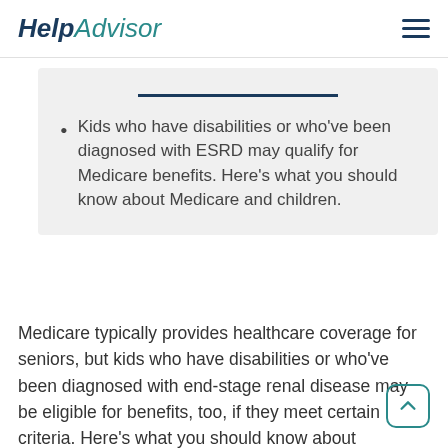HelpAdvisor
Kids who have disabilities or who've been diagnosed with ESRD may qualify for Medicare benefits. Here's what you should know about Medicare and children.
Medicare typically provides healthcare coverage for seniors, but kids who have disabilities or who've been diagnosed with end-stage renal disease may be eligible for benefits, too, if they meet certain criteria. Here's what you should know about Medicare